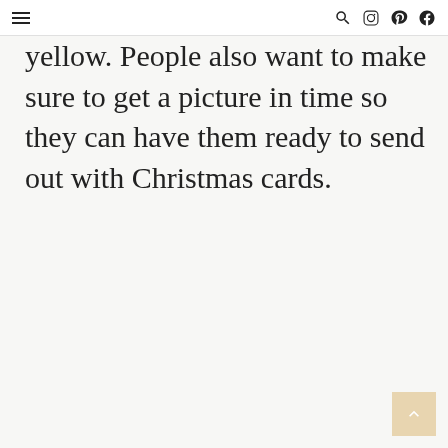☰  🔍  📷  Pinterest  Facebook
yellow. People also want to make sure to get a picture in time so they can have them ready to send out with Christmas cards.